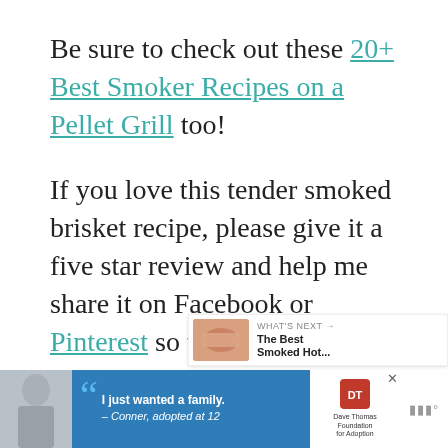Be sure to check out these 20+ Best Smoker Recipes on a Pellet Grill too!
If you love this tender smoked brisket recipe, please give it a five star review and help me share it on Facebook or Pinterest so that others can enjoy it to
[Figure (screenshot): What's Next card showing The Best Smoked Hot... with a food image thumbnail]
[Figure (screenshot): Advertisement banner: Dave Thomas Foundation for Adoption quote 'I just wanted a family. – Conner, adopted at 12']